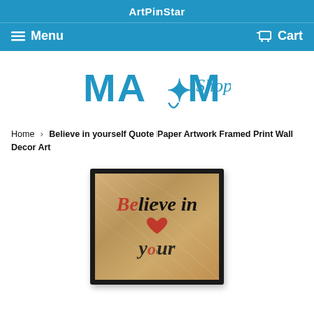ArtPinStar
Menu  Cart
[Figure (logo): MA*M Shop logo in blue lettering with a star and horseshoe graphic]
Home › Believe in yourself Quote Paper Artwork Framed Print Wall Decor Art
[Figure (photo): Framed print wall decor art showing 'Believe in' text on aged paper background with red and black script lettering and a red heart]